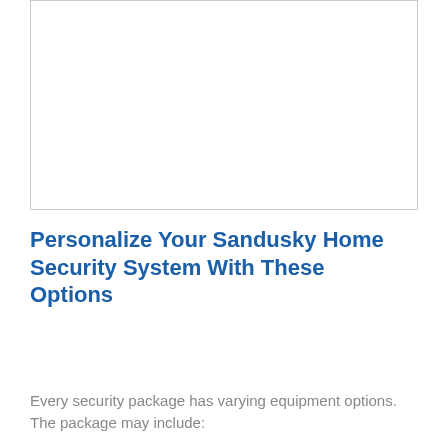[Figure (other): White rectangular image placeholder with light gray border]
Personalize Your Sandusky Home Security System With These Options
Every security package has varying equipment options. The package may include: